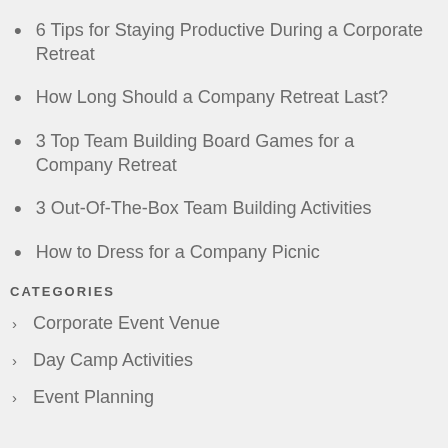6 Tips for Staying Productive During a Corporate Retreat
How Long Should a Company Retreat Last?
3 Top Team Building Board Games for a Company Retreat
3 Out-Of-The-Box Team Building Activities
How to Dress for a Company Picnic
CATEGORIES
Corporate Event Venue
Day Camp Activities
Event Planning